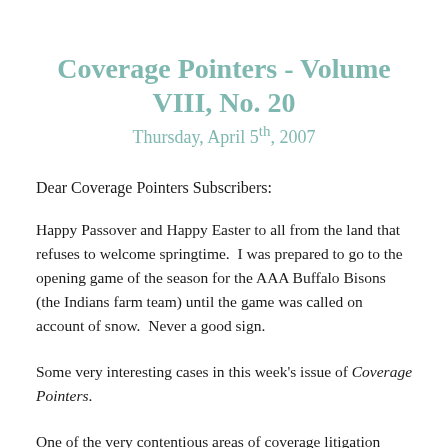Coverage Pointers - Volume VIII, No. 20
Thursday, April 5th, 2007
Dear Coverage Pointers Subscribers:
Happy Passover and Happy Easter to all from the land that refuses to welcome springtime.  I was prepared to go to the opening game of the season for the AAA Buffalo Bisons (the Indians farm team) until the game was called on account of snow.  Never a good sign.
Some very interesting cases in this week's issue of Coverage Pointers.
One of the very contentious areas of coverage litigation involves